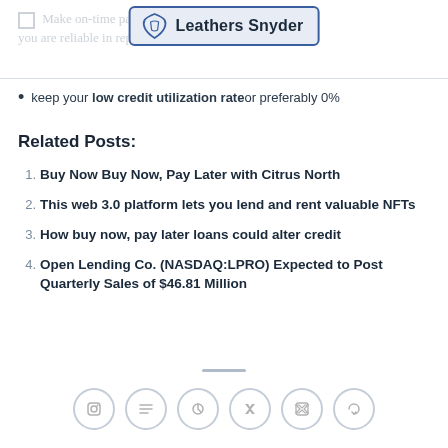Make on-time payments to demonstrate that you are reliable in repaying your debts
[Figure (logo): Leathers Snyder logo with leather/shield icon and bold text]
keep your low credit utilization rate or preferably 0%
Related Posts:
Buy Now Buy Now, Pay Later with Citrus North
This web 3.0 platform lets you lend and rent valuable NFTs
How buy now, pay later loans could alter credit
Open Lending Co. (NASDAQ:LPRO) Expected to Post Quarterly Sales of $46.81 Million
[Figure (infographic): Six social media icon circles in a row at bottom of page]